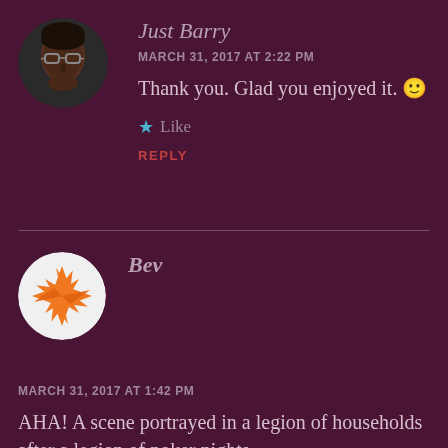[Figure (photo): Avatar photo of Just Barry, a person wearing glasses, circular cropped]
Just Barry
MARCH 31, 2017 AT 2:22 PM
Thank you. Glad you enjoyed it. 🙂
★ Like
REPLY
[Figure (logo): Avatar of Bev, an orange starburst/pinwheel shape on white background, circular cropped]
Bev
MARCH 31, 2017 AT 1:42 PM
AHA! A scene portrayed in a legion of households after a legion of poker nights